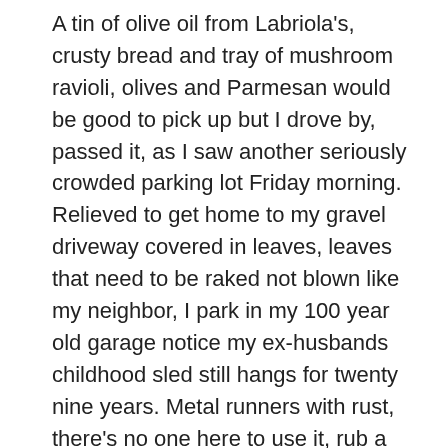A tin of olive oil from Labriola's, crusty bread and tray of mushroom ravioli, olives and Parmesan would be good to pick up but I drove by, passed it, as I saw another seriously crowded parking lot Friday morning. Relieved to get home to my gravel driveway covered in leaves, leaves that need to be raked not blown like my neighbor, I park in my 100 year old garage notice my ex-husbands childhood sled still hangs for twenty nine years. Metal runners with rust, there's no one here to use it, rub a candle along the edge. It's good to be home, get in my house, turn the lock, inch towards recluse. I wash my hands,breathe and push the button down on the electric kettle for tea. Tea in a thin lipped cup or